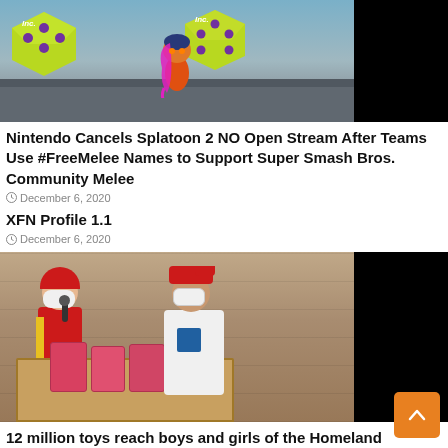[Figure (photo): Screenshot from Splatoon 2 game showing a character surrounded by large yellow-green dice with purple dots, with a magenta ink splatter effect]
Nintendo Cancels Splatoon 2 NO Open Stream After Teams Use #FreeMelee Names to Support Super Smash Bros. Community Melee
December 6, 2020
XFN Profile 1.1
December 6, 2020
[Figure (photo): Two people wearing face masks and red hard hats, one holding a microphone, standing next to an open cardboard box filled with pink packaged toys]
12 million toys reach boys and girls of the Homeland
December 6, 2020